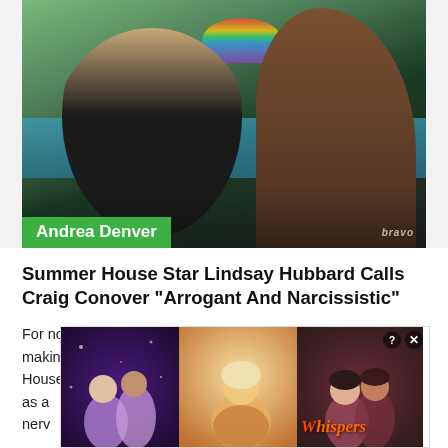[Figure (photo): TV show still image showing Andrea Denver (blonde woman in black crop top) by a pool, with a rainbow float in background and another person with dark hair facing away. Bravo network watermark visible. Green lower-third label reads 'Andrea Denver'.]
Summer House Star Lindsay Hubbard Calls Craig Conover “Arrogant And Narcissistic”
For not being a cast member, Craig Conover is certainly making headlines on Summer House. Much as a [cast] nerv[ous]...
[Figure (screenshot): Advertisement overlay for the mobile game 'Whispers' showing illustrated romantic scenes with animated characters.]